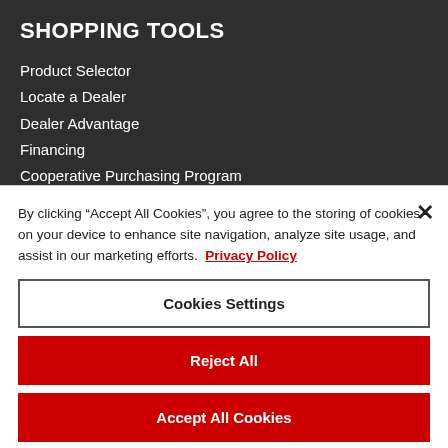SHOPPING TOOLS
Product Selector
Locate a Dealer
Dealer Advantage
Financing
Cooperative Purchasing Program
By clicking “Accept All Cookies”, you agree to the storing of cookies on your device to enhance site navigation, analyze site usage, and assist in our marketing efforts. Privacy Policy
Cookies Settings
Reject All
Accept All Cookies